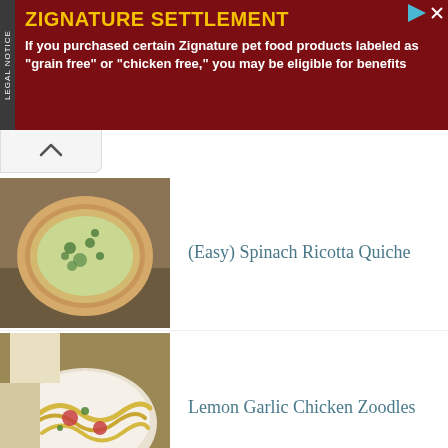[Figure (infographic): Ad banner for Zignature Settlement legal notice. Dark red background with yellow title text 'ZIGNATURE SETTLEMENT' and white body text about purchasing Zignature pet food products labeled as grain free or chicken free. Vertical 'LEGAL NOTICE' sidebar on left.]
(Easy) Spinach Ricotta Quiche
Lemon Garlic Chicken Zoodles
(No-Bake) Coconut Lemon Meltaway Balls
Hamburger Steak with Onions and Gravy